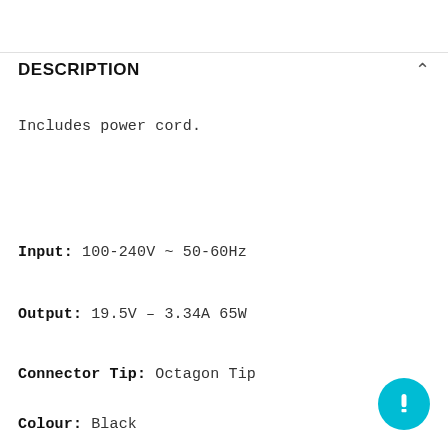DESCRIPTION
Includes power cord.
Input: 100-240V ~ 50-60Hz
Output: 19.5V – 3.34A 65W
Connector Tip: Octagon Tip
Colour: Black